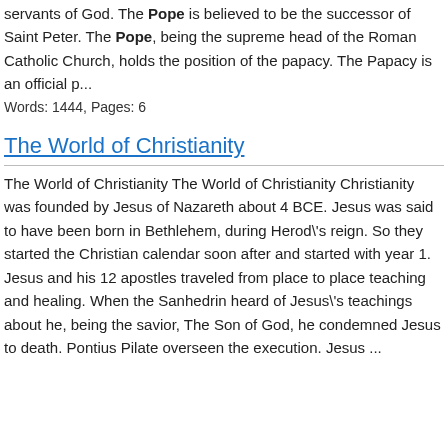servants of God. The Pope is believed to be the successor of Saint Peter. The Pope, being the supreme head of the Roman Catholic Church, holds the position of the papacy. The Papacy is an official p...
Words: 1444, Pages: 6
The World of Christianity
The World of Christianity The World of Christianity Christianity was founded by Jesus of Nazareth about 4 BCE. Jesus was said to have been born in Bethlehem, during Herod\'s reign. So they started the Christian calendar soon after and started with year 1. Jesus and his 12 apostles traveled from place to place teaching and healing. When the Sanhedrin heard of Jesus\'s teachings about he, being the savior, The Son of God, he condemned Jesus to death. Pontius Pilate overseen the execution. Jesus ...